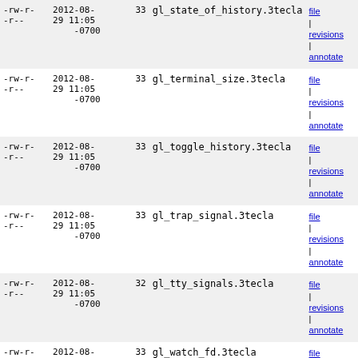| Permissions | Date | Size | Filename | Actions |
| --- | --- | --- | --- | --- |
| -rw-r--r-- | 2012-08-29 11:05 -0700 | 33 | gl_state_of_history.3tecla | file | revisions | annotate |
| -rw-r--r-- | 2012-08-29 11:05 -0700 | 33 | gl_terminal_size.3tecla | file | revisions | annotate |
| -rw-r--r-- | 2012-08-29 11:05 -0700 | 33 | gl_toggle_history.3tecla | file | revisions | annotate |
| -rw-r--r-- | 2012-08-29 11:05 -0700 | 33 | gl_trap_signal.3tecla | file | revisions | annotate |
| -rw-r--r-- | 2012-08-29 11:05 -0700 | 32 | gl_tty_signals.3tecla | file | revisions | annotate |
| -rw-r--r-- | 2012-08-29 11:05 -0700 | 33 | gl_watch_fd.3tecla | file | revisions | annotate |
| -rw-r--r-- | 2012-08-29 11:05 -0700 | 5469 | libtecla.3lib | file | revisions | annotate |
| -rw-r--r-- | 2012-08-29 11:05 -0700 | 3315 | libtecla_version.3tecla | file | revisions | annotate |
| -rw-r--r-- | 2012-08-29 11:05 -0700 | 39 | new_CplFileConf.3tecla | file | revisions | annotate |